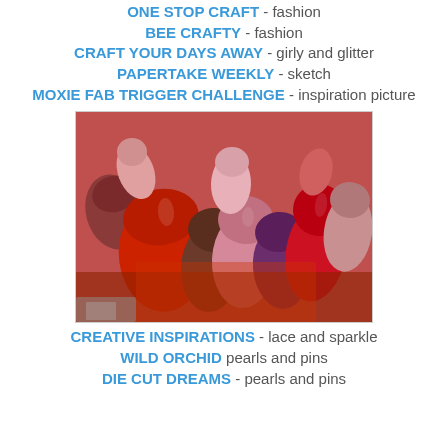ONE STOP CRAFT - fashion
BEE CRAFTY - fashion
CRAFT YOUR DAYS AWAY - girly and glitter
PAPERTAKE WEEKLY - sketch
MOXIE FAB TRIGGER CHALLENGE - inspiration picture
[Figure (photo): Close-up photo of many lipsticks of various colors including reds, pinks, browns, and purples arranged together, viewed from above at an angle showing their tops.]
CREATIVE INSPIRATIONS - lace and sparkle
WILD ORCHID pearls and pins
DIE CUT DREAMS - pearls and pins